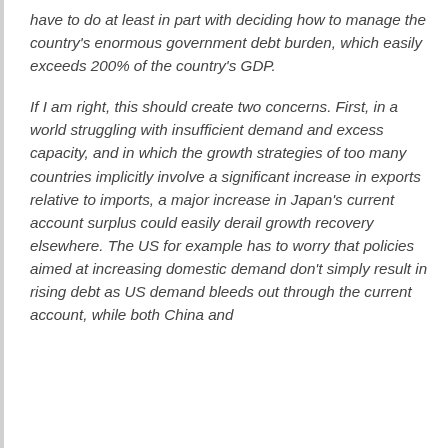have to do at least in part with deciding how to manage the country's enormous government debt burden, which easily exceeds 200% of the country's GDP.
If I am right, this should create two concerns. First, in a world struggling with insufficient demand and excess capacity, and in which the growth strategies of too many countries implicitly involve a significant increase in exports relative to imports, a major increase in Japan's current account surplus could easily derail growth recovery elsewhere. The US for example has to worry that policies aimed at increasing domestic demand don't simply result in rising debt as US demand bleeds out through the current account, while both China and